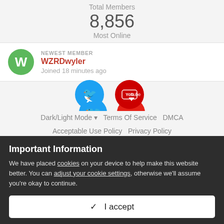Total Members
8,856
Most Online
NEWEST MEMBER
WZRDwyler
Joined 18 minutes ago
[Figure (infographic): Twitter and YouTube social media icons]
Dark/Light Mode ▾   Terms Of Service   DMCA   Acceptable Use Policy   Privacy Policy
[Figure (infographic): Payment method logos: Visa, Mastercard, American Express, Discover]
Important Information
We have placed cookies on your device to help make this website better. You can adjust your cookie settings, otherwise we'll assume you're okay to continue.
✓  I accept